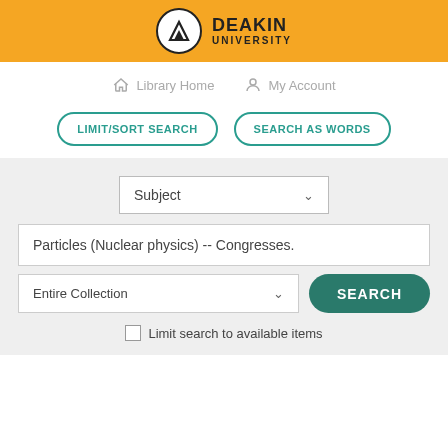[Figure (logo): Deakin University logo with shield icon on orange header bar]
Library Home   My Account
LIMIT/SORT SEARCH   SEARCH AS WORDS
Subject
Particles (Nuclear physics) -- Congresses.
Entire Collection
SEARCH
Limit search to available items